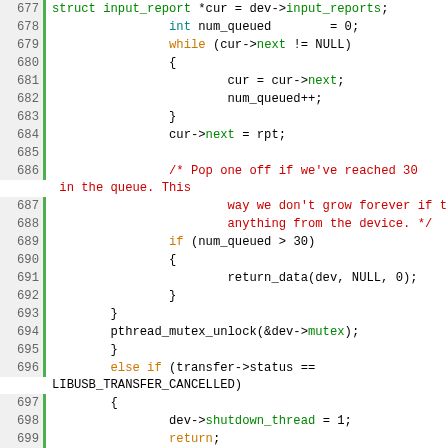Code listing lines 677-705, C source code showing USB HID input report handling with mutex locking